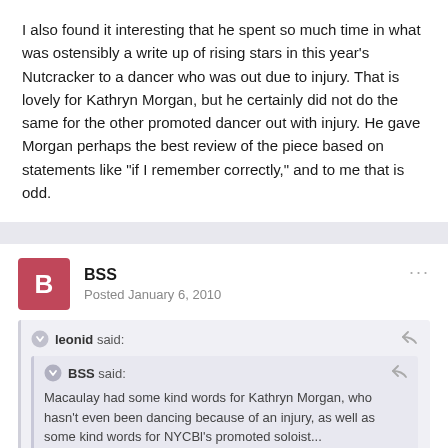I also found it interesting that he spent so much time in what was ostensibly a write up of rising stars in this year's Nutcracker to a dancer who was out due to injury. That is lovely for Kathryn Morgan, but he certainly did not do the same for the other promoted dancer out with injury. He gave Morgan perhaps the best review of the piece based on statements like "if I remember correctly," and to me that is odd.
BSS — Posted January 6, 2010
leonid said:
BSS said: Macaulay had some kind words for Kathryn Morgan, who hasn't even been dancing because of an injury, as well as some kind words for NYCBl's promoted soloist...